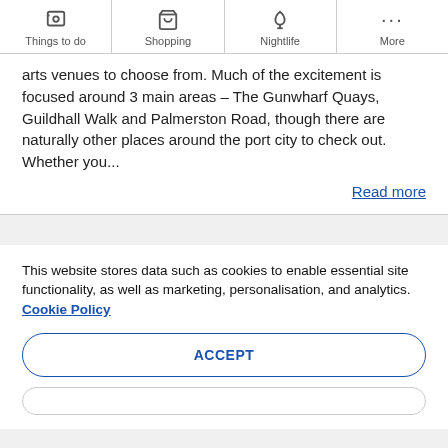Things to do | Shopping | Nightlife | More
arts venues to choose from. Much of the excitement is focused around 3 main areas – The Gunwharf Quays, Guildhall Walk and Palmerston Road, though there are naturally other places around the port city to check out. Whether you...
Read more
This website stores data such as cookies to enable essential site functionality, as well as marketing, personalisation, and analytics. Cookie Policy
ACCEPT